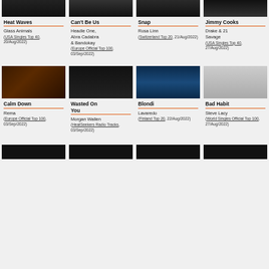[Figure (photo): Heat Waves music video thumbnail - dark background]
Heat Waves
Glass Animals (USA Singles Top 40, 20/Aug/2022)
[Figure (photo): Can't Be Us music video thumbnail]
Can't Be Us
Headie One, Abra Cadabra & Bandokay (Europe Official Top 100, 03/Sep/2022)
[Figure (photo): Snap music video thumbnail]
Snap
Rosa Linn (Switzerland Top 20, 21/Aug/2022)
[Figure (photo): Jimmy Cooks music video thumbnail - vevo]
Jimmy Cooks
Drake & 21 Savage (USA Singles Top 40, 27/Aug/2022)
[Figure (photo): Calm Down music video thumbnail - warm tones]
Calm Down
Rema (Europe Official Top 100, 03/Sep/2022)
[Figure (photo): Wasted On You music video thumbnail - dark]
Wasted On You
Morgan Wallen (HeatSeekers Radio Tracks, 03/Sep/2022)
[Figure (photo): Blondi music video thumbnail - blue background]
Blondi
Lavaredo (Finland Top 20, 22/Aug/2022)
[Figure (photo): Bad Habit music video thumbnail]
Bad Habit
Steve Lacy (World Singles Official Top 100, 27/Aug/2022)
[Figure (photo): Bottom row thumbnails - partially visible]